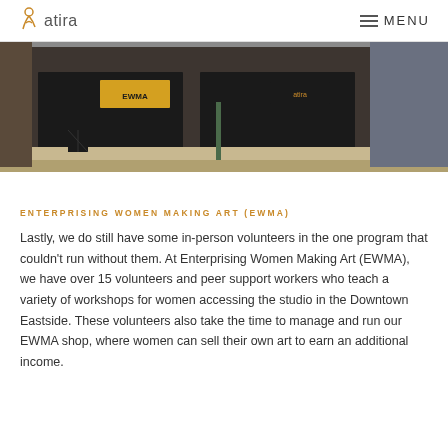atira — MENU
[Figure (photo): Street-level exterior photo of a brick building with storefront windows showing EWMA and atira signage, with a sidewalk and street lamp in the foreground.]
ENTERPRISING WOMEN MAKING ART (EWMA)
Lastly, we do still have some in-person volunteers in the one program that couldn't run without them. At Enterprising Women Making Art (EWMA), we have over 15 volunteers and peer support workers who teach a variety of workshops for women accessing the studio in the Downtown Eastside. These volunteers also take the time to manage and run our EWMA shop, where women can sell their own art to earn an additional income.